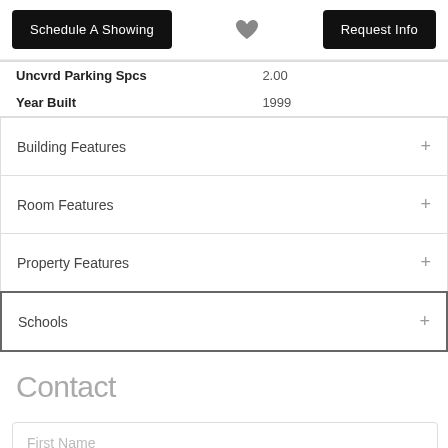Schedule A Showing | [heart] | Request Info
| Uncvrd Parking Spcs | 2.00 |
| Year Built | 1999 |
Building Features
Room Features
Property Features
Schools
Contact
First Name